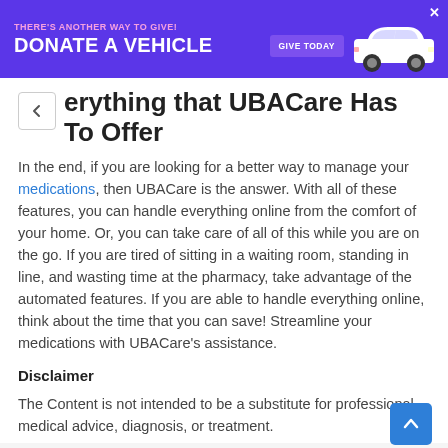[Figure (other): Purple advertisement banner reading 'THERE'S ANOTHER WAY TO GIVE! DONATE A VEHICLE' with a 'GIVE TODAY' button and an image of a white car, with a close X button.]
...erything that UBACare Has To Offer
In the end, if you are looking for a better way to manage your medications, then UBACare is the answer. With all of these features, you can handle everything online from the comfort of your home. Or, you can take care of all of this while you are on the go. If you are tired of sitting in a waiting room, standing in line, and wasting time at the pharmacy, take advantage of the automated features. If you are able to handle everything online, think about the time that you can save! Streamline your medications with UBACare's assistance.
Disclaimer
The Content is not intended to be a substitute for professional medical advice, diagnosis, or treatment.